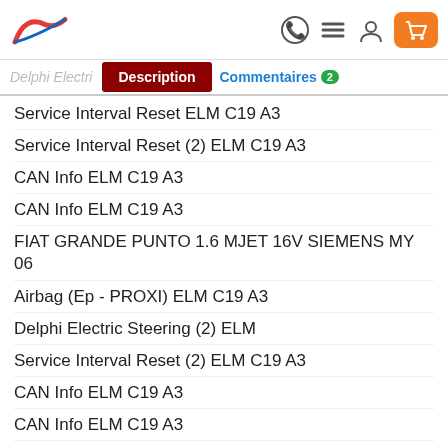Logo, WhatsApp icon, menu icon, account icon, cart button
Delphi Electri | Description | Commentaires 2
Service Interval Reset ELM C19 A3
Service Interval Reset (2) ELM C19 A3
CAN Info ELM C19 A3
CAN Info ELM C19 A3
FIAT GRANDE PUNTO 1.6 MJET 16V SIEMENS MY 06
Airbag (Ep - PROXI) ELM C19 A3
Delphi Electric Steering (2) ELM
Service Interval Reset (2) ELM C19 A3
CAN Info ELM C19 A3
CAN Info ELM C19 A3
FIAT GRANDE PUNTO 1.9 MJET 8V SIEMENS MY 06
Airbag (Ep - PROXI) ELM C19 A3
TRW MY 05 Airbag (Ep - PROXI) ELM C19 A3
Delphi Electric Steering ELM
Delphi Electric Steering (2) ELM
Service Interval Reset ELM C19 A3